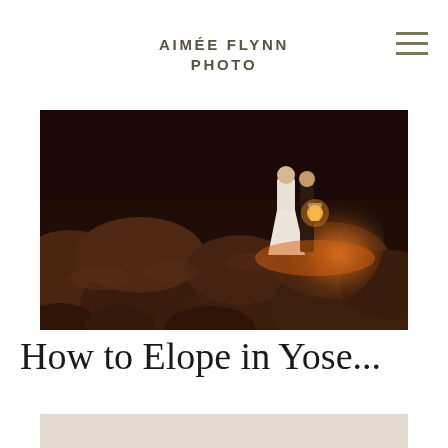AIMÉE FLYNN PHOTO
[Figure (photo): A couple standing on large dark rocks at dusk, one holding a glowing lantern that illuminates the rocky terrain with warm orange light. The scene appears to be at Yosemite, with the woman in a white dress.]
How to Elope in Yose...
[Figure (photo): Bottom portion of a second photo, showing a light beige/sandy background, partially cut off at the bottom of the page.]